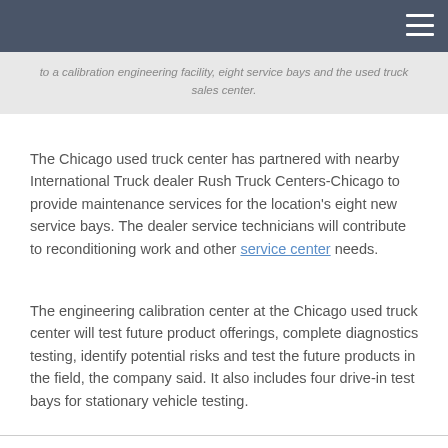to a calibration engineering facility, eight service bays and the used truck sales center.
The Chicago used truck center has partnered with nearby International Truck dealer Rush Truck Centers-Chicago to provide maintenance services for the location's eight new service bays. The dealer service technicians will contribute to reconditioning work and other service center needs.
The engineering calibration center at the Chicago used truck center will test future product offerings, complete diagnostics testing, identify potential risks and test the future products in the field, the company said. It also includes four drive-in test bays for stationary vehicle testing.